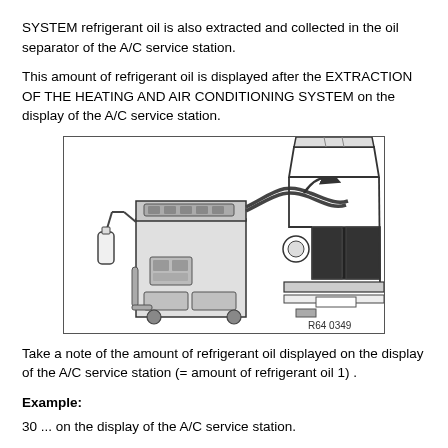SYSTEM refrigerant oil is also extracted and collected in the oil separator of the A/C service station.
This amount of refrigerant oil is displayed after the EXTRACTION OF THE HEATING AND AIR CONDITIONING SYSTEM on the display of the A/C service station.
[Figure (engineering-diagram): Diagram showing an A/C service station machine connected via hoses to the front engine bay of a car (BMW-style), with an arrow indicating direction of extraction. Reference code R64 0349.]
Take a note of the amount of refrigerant oil displayed on the display of the A/C service station (= amount of refrigerant oil 1) .
Example:
30 ... on the display of the A/C service station.